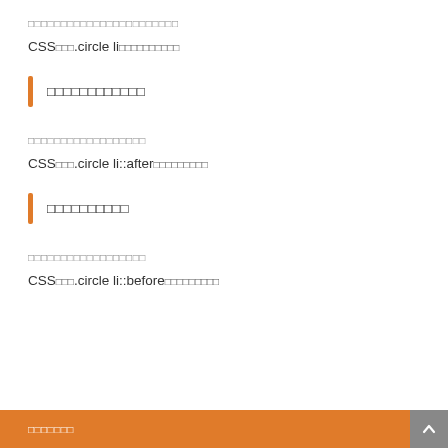□□□□□□□□□□□□□□□□□□□□□□□
CSS□□□.circle li□□□□□□□□□□
□□□□□□□□□□□□
□□□□□□□□□□□□□□□□□□□
CSS□□□.circle li::after□□□□□□□□□
□□□□□□□□□□
□□□□□□□□□□□□□□□□□□
CSS□□□.circle li::before□□□□□□□□□
□□□□□□□